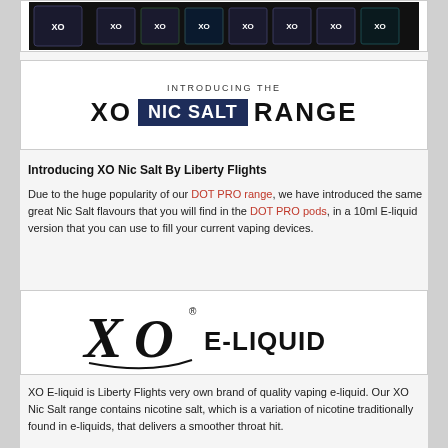[Figure (photo): Row of XO branded product boxes/packages against dark background]
[Figure (infographic): Banner introducing the XO Nic Salt Range with dark blue badge]
Introducing XO Nic Salt By Liberty Flights
Due to the huge popularity of our DOT PRO range, we have introduced the same great Nic Salt flavours that you will find in the DOT PRO pods, in a 10ml E-liquid version that you can use to fill your current vaping devices.
[Figure (logo): XO E-LIQUID logo with stylized XO letters and swoosh]
XO E-liquid is Liberty Flights very own brand of quality vaping e-liquid. Our XO Nic Salt range contains nicotine salt, which is a variation of nicotine traditionally found in e-liquids, that delivers a smoother throat hit.